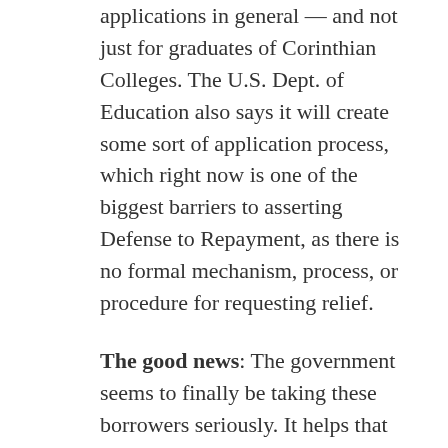applications in general — and not just for graduates of Corinthian Colleges. The U.S. Dept. of Education also says it will create some sort of application process, which right now is one of the biggest barriers to asserting Defense to Repayment, as there is no formal mechanism, process, or procedure for requesting relief.
The good news: The government seems to finally be taking these borrowers seriously. It helps that these students have broad support from key policymakers and advocates, including organizations like the National Consumer Law Center and multiple state attorneys general.
The bad news: This is just the announcement of some steps that the U.S. Dept. of Education will be taking in the coming months to address this. Nothing